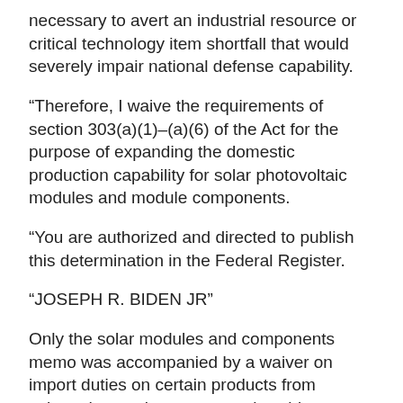necessary to avert an industrial resource or critical technology item shortfall that would severely impair national defense capability.
“Therefore, I waive the requirements of section 303(a)(1)–(a)(6) of the Act for the purpose of expanding the domestic production capability for solar photovoltaic modules and module components.
“You are authorized and directed to publish this determination in the Federal Register.
“JOSEPH R. BIDEN JR”
Only the solar modules and components memo was accompanied by a waiver on import duties on certain products from selected countries not currently subject to trade remedies. The emergency/waiver decision is copied below.